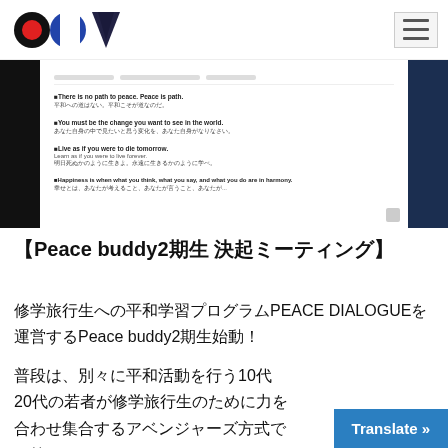[Figure (screenshot): Screenshot of a web page showing Gandhi quotes in English and Japanese, with a dark navy left and right border and PCY logo in the top-left corner with hamburger menu on the right]
【Peace buddy2期生 決起ミーティング】
修学旅行生への平和学習プログラムPEACE DIALOGUEを運営するPeace buddy2期生始動！
普段は、別々に平和活動を行う10代20代の若者が修学旅行生のために力を合わせ集合するアベンジャーズ方式です笑